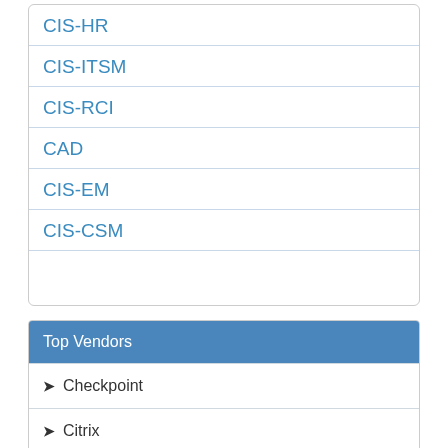CIS-HR
CIS-ITSM
CIS-RCI
CAD
CIS-EM
CIS-CSM
Top Vendors
Checkpoint
Citrix